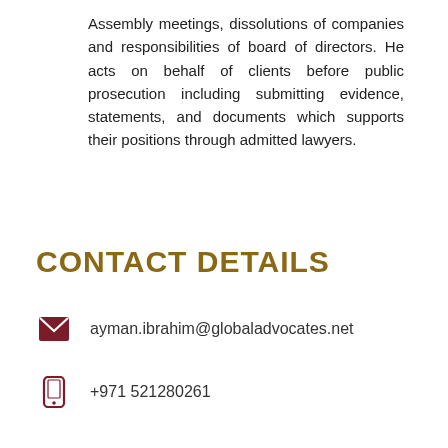Assembly meetings, dissolutions of companies and responsibilities of board of directors. He acts on behalf of clients before public prosecution including submitting evidence, statements, and documents which supports their positions through admitted lawyers.
CONTACT DETAILS
ayman.ibrahim@globaladvocates.net
+971 521280261